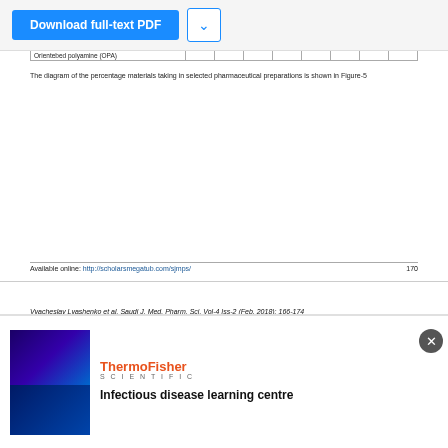| Orientebed polyamine (OPA) |  |  |  |  |  |  |  |  |
| --- | --- | --- | --- | --- | --- | --- | --- | --- |
| Orientebed polyamine (OPA) |  |  |  |  |  |  |  |  |
The diagram of the percentage materials taking in selected pharmaceutical preparations is shown in Figure-5
Available online: http://scholarsmegatub.com/sjmps/   170
Vyacheslav Lyashenko et al. Saudi J. Med. Pharm. Sci. Vol-4 Iss-2 (Feb. 2018): 166-174
[Figure (pie-chart): Semi-circular pie chart showing percentage distribution of materials in pharmaceutical preparations, with slices labeled 3%, 5%, 5%, 3%, 9%, 6%, 3%, 9%, 3%, 13%, and other values]
[Figure (photo): Thermo Fisher Scientific advertisement showing microscopy images]
Infectious disease learning centre